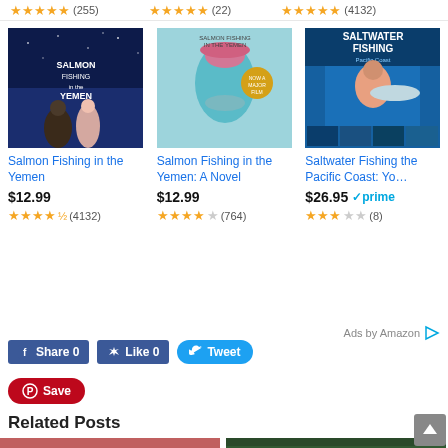[Figure (screenshot): Top bar showing partial star ratings with review counts (255), (22), (4132) cut off at top]
[Figure (screenshot): Book cover: Salmon Fishing in the Yemen (movie poster)]
Salmon Fishing in the Yemen
$12.99
(4132)
[Figure (screenshot): Book cover: Salmon Fishing in the Yemen: A Novel]
Salmon Fishing in the Yemen: A Novel
$12.99
(764)
[Figure (screenshot): Book cover: Saltwater Fishing the Pacific Coast]
Saltwater Fishing the Pacific Coast: Yo…
$26.95
(8)
Ads by Amazon
Share 0
Like 0
Tweet
Save
Related Posts
[Figure (photo): Related post thumbnail 1 - pink/red tones]
[Figure (photo): Related post thumbnail 2 - dark green tones]